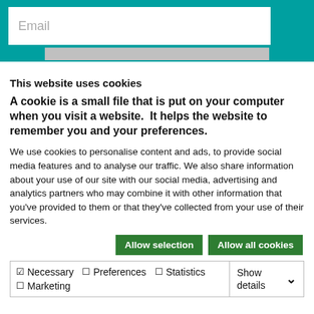[Figure (screenshot): Teal/green top bar with a white email input field showing placeholder text 'Email' and a gray bar below it]
This website uses cookies
A cookie is a small file that is put on your computer when you visit a website.  It helps the website to remember you and your preferences.
We use cookies to personalise content and ads, to provide social media features and to analyse our traffic. We also share information about your use of our site with our social media, advertising and analytics partners who may combine it with other information that you've provided to them or that they've collected from your use of their services.
Allow selection | Allow all cookies (buttons)
Necessary (checked), Preferences (unchecked), Statistics (unchecked), Marketing (unchecked), Show details